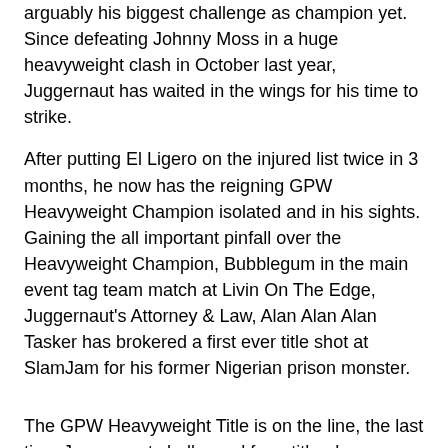arguably his biggest challenge as champion yet. Since defeating Johnny Moss in a huge heavyweight clash in October last year, Juggernaut has waited in the wings for his time to strike.
After putting El Ligero on the injured list twice in 3 months, he now has the reigning GPW Heavyweight Champion isolated and in his sights. Gaining the all important pinfall over the Heavyweight Champion, Bubblegum in the main event tag team match at Livin On The Edge, Juggernaut's Attorney & Law, Alan Alan Alan Tasker has brokered a first ever title shot at SlamJam for his former Nigerian prison monster.
The GPW Heavyweight Title is on the line, the last time Juggernaut challenged for a title - he won. Bubblegum has defended the title with some of the best matches in GPW history and deservedly takes his spot as the most popular man on the roster.
Giving up a lot of size to the monster, Juggernaut can